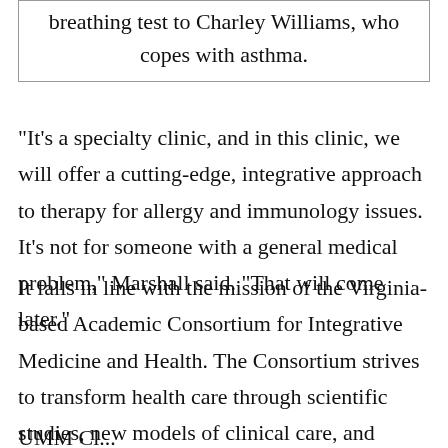breathing test to Charley Williams, who copes with asthma.
"It's a specialty clinic, and in this clinic, we will offer a cutting-edge, integrative approach to therapy for allergy and immunology issues. It's not for someone with a general medical problem," Marshall said. "That will come later."
It falls in line with the mission of the Virginia-based Academic Consortium for Integrative Medicine and Health. The Consortium strives to transform health care through scientific studies, new models of clinical care, and innovative programs that integrate biomedicine, the complexity of human beings, the intrinsic nature of healing, and the rich diversity of therapeutic medicine.
UMM. Cl...